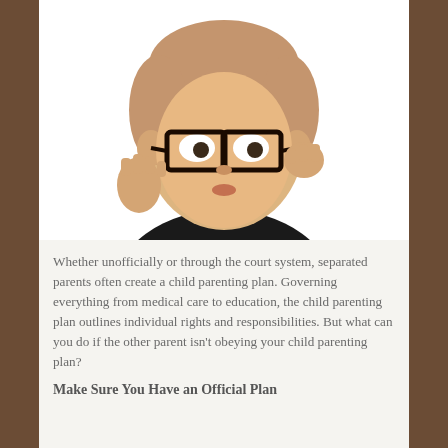[Figure (photo): A toddler wearing large oversized dark-framed glasses, dressed in a black sweater, with one hand raised and the other adjusting the glasses, against a white background.]
Whether unofficially or through the court system, separated parents often create a child parenting plan. Governing everything from medical care to education, the child parenting plan outlines individual rights and responsibilities. But what can you do if the other parent isn't obeying your child parenting plan?
Make Sure You Have an Official Plan